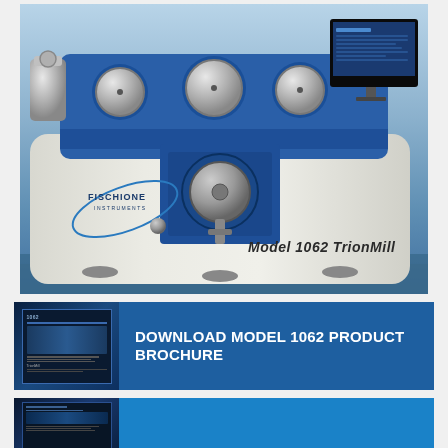[Figure (photo): Photograph of the Fischione Instruments Model 1062 TrionMill laboratory instrument — a large blue and cream/white precision milling machine with three circular gauges on top, a central disc mechanism, a hopper attachment on the left, a computer monitor on the right showing a control interface, and the Fischione Instruments logo with orbital graphic on the front. Text 'Model 1062 TrionMill' is displayed on the front of the instrument.]
[Figure (infographic): Blue banner with thumbnail image of Model 1062 product brochure on the left and bold white text 'DOWNLOAD MODEL 1062 PRODUCT BROCHURE' on the right.]
[Figure (infographic): Partially visible blue banner at bottom of page with thumbnail image on the left and blue content area on the right — second downloadable resource for Model 1062.]